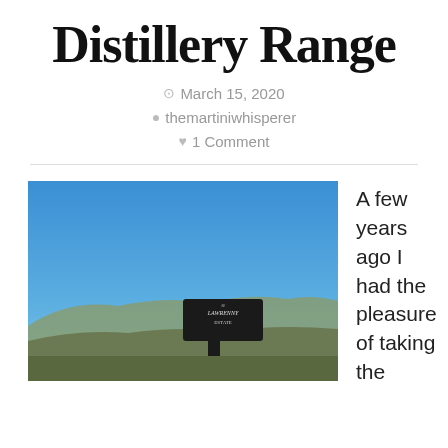Distillery Range
March 15, 2020
themartiniwhisperer
1 Comment
[Figure (photo): Outdoor photo showing a clear blue sky with mountains in the background and a Lawrenny Estate sign in the foreground.]
A few years ago I had the pleasure of taking the